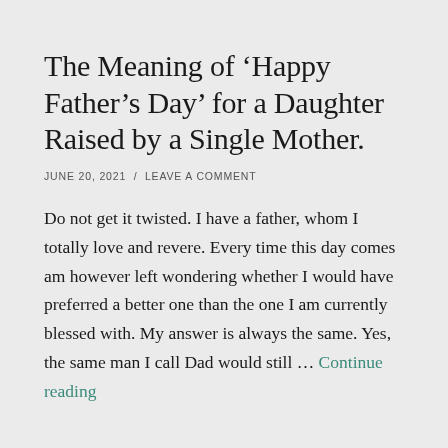The Meaning of ‘Happy Father’s Day’ for a Daughter Raised by a Single Mother.
JUNE 20, 2021 / LEAVE A COMMENT
Do not get it twisted. I have a father, whom I totally love and revere. Every time this day comes am however left wondering whether I would have preferred a better one than the one I am currently blessed with. My answer is always the same. Yes, the same man I call Dad would still … Continue reading